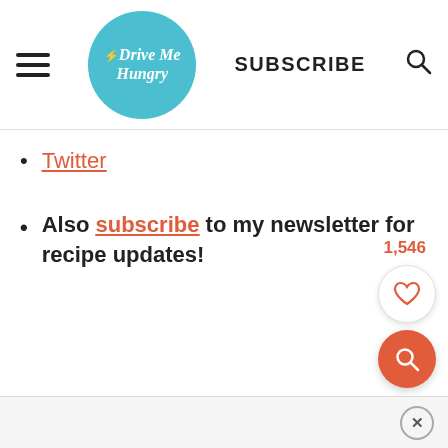Drive Me Hungry — SUBSCRIBE
Twitter
Also subscribe to my newsletter for recipe updates!